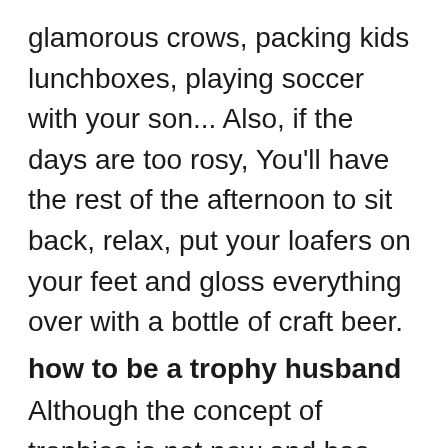glamorous crows, packing kids lunchboxes, playing soccer with your son... Also, if the days are too rosy, You'll have the rest of the afternoon to sit back, relax, put your loafers on your feet and gloss everything over with a bottle of craft beer.
how to be a trophy husband
Although the concept of trophies is not new and has been the subject of many reality shows. But the concept of trophy husbands refreshes the old image. Many men have earned this status and position in society's trophy-marine circles. [Read: What exactly is a trophy wife and why do all men desire one?]So how does one achieve trophy husband status?